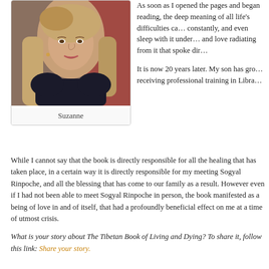[Figure (photo): Portrait photo of a woman with long blonde/light brown hair, wearing dark clothing, smiling slightly. Background has red/warm tones.]
Suzanne
As soon as I opened the pages and began reading, the deep meaning of all life's difficulties came to me. I read it constantly, and even sleep with it under my pillow. It had light and love radiating from it that spoke directly to me.
It is now 20 years later. My son has grown up and is now receiving professional training in Libra…
While I cannot say that the book is directly responsible for all the healing that has taken place, in a certain way it is directly responsible for my meeting Sogyal Rinpoche, and all the blessing that has come to our family as a result. However even if I had not been able to meet Sogyal Rinpoche in person, the book manifested as a being of love in and of itself, that had a profoundly beneficial effect on me at a time of utmost crisis.
What is your story about The Tibetan Book of Living and Dying? To share it, follow this link: Share your story.